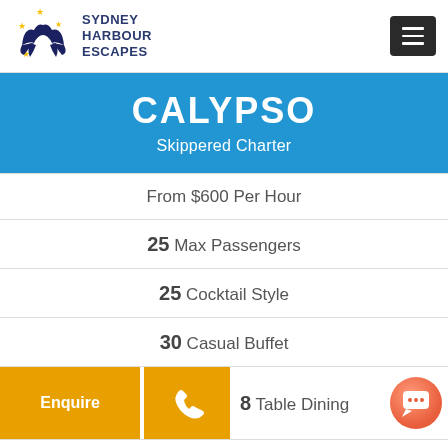Sydney Harbour Escapes
CALYPSO
Skippered Charter
From $600 Per Hour
25 Max Passengers
25 Cocktail Style
30 Casual Buffet
8 Table Dining
Select Your Occasion